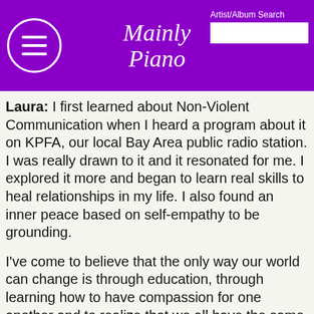[Figure (screenshot): Website header for 'Mainly Piano' with purple background, hamburger menu icon in circle, italic script logo, and Artist/Album Search input box]
Laura: I first learned about Non-Violent Communication when I heard a program about it on KPFA, our local Bay Area public radio station. I was really drawn to it and it resonated for me. I explored it more and began to learn real skills to heal relationships in my life. I also found an inner peace based on self-empathy to be grounding.
I've come to believe that the only way our world can change is through education, through learning how to have compassion for one another and to realize that we all have the same needs. That is basically what NVC is about. For me it's a spiritual path because it's a practice of being conscious to keeping my heart open and seeing beauty in everyone. I'm not saying I do that all the time -it's just where I want to be and try to be.
KP: On your site, you mentioned that you are working on an album of music for children based on these principles. Will